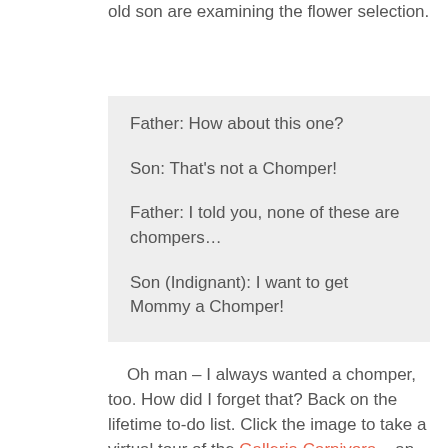old son are examining the flower selection.
Father: How about this one?

Son: That's not a Chomper!

Father: I told you, none of these are chompers…

Son (Indignant): I want to get Mommy a Chomper!
Oh man – I always wanted a chomper, too. How did I forget that? Back on the lifetime to-do list. Click the image to take a virtual tour of the Galleria Carnivora – an entire museum dedicated